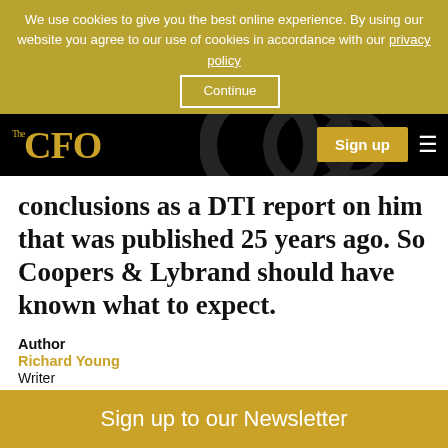We use cookies to give you the best online experience. By using our website you agree to our use of cookies in accordance with our privacy policy. Continue
[Figure (logo): The CFO logo in gold on black navigation bar with Sign up button and hamburger menu]
conclusions as a DTI report on him that was published 25 years ago. So Coopers & Lybrand should have known what to expect.
Author
Richard Young
Writer
Date published
Sign up to our Newsletter